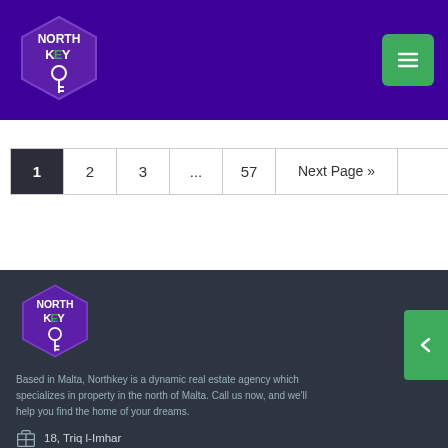[Figure (logo): North Key real estate agency hexagon logo in purple with key icon]
[Figure (logo): Menu button with three horizontal lines on green background]
1
2
3
...
57
Next Page »
[Figure (logo): North Key real estate agency hexagon logo in purple with key icon (footer)]
Based in Malta, Northkey is a dynamic real estate agency which specializes in property in the north of Malta. Call us now, and we'll help you find the home of your dreams.
18, Triq l-Imhar
Qawra, SPR1571, Malta